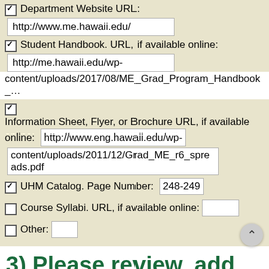☑ Department Website URL: http://www.me.hawaii.edu/
☑ Student Handbook. URL, if available online: http://me.hawaii.edu/wp-content/uploads/2017/08/ME_Grad_Program_Handbook_...
☑ Information Sheet, Flyer, or Brochure URL, if available online: http://www.eng.hawaii.edu/wp-content/uploads/2011/12/Grad_ME_r6_spreads.pdf
☑ UHM Catalog. Page Number: 248-249
☐ Course Syllabi. URL, if available online:
☐ Other:
3) Please review, add, replace, or delete the existing curriculum m…
Curriculum Map File(s) from 2023...